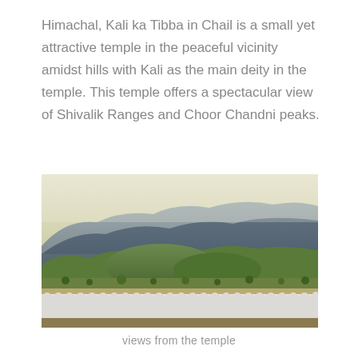Himachal, Kali ka Tibba in Chail is a small yet attractive temple in the peaceful vicinity amidst hills with Kali as the main deity in the temple. This temple offers a spectacular view of Shivalik Ranges and Choor Chandni peaks.
[Figure (photo): Photograph showing a scenic mountain view from the temple at Chail, with forested hills and mountain ranges visible in the background, and a white decorative parapet wall with scalloped arches in the foreground.]
views from the temple